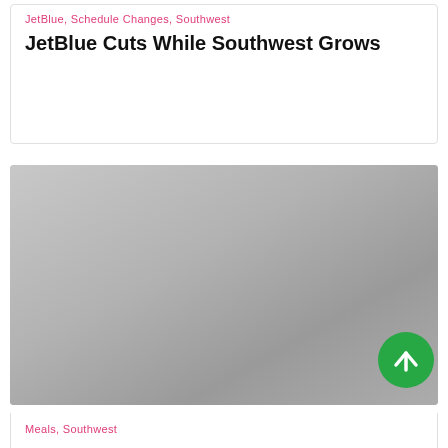JetBlue, Schedule Changes, Southwest
JetBlue Cuts While Southwest Grows
[Figure (photo): A gray placeholder image filling the card area, with a green circular scroll-up button in the bottom-right corner.]
Meals, Southwest